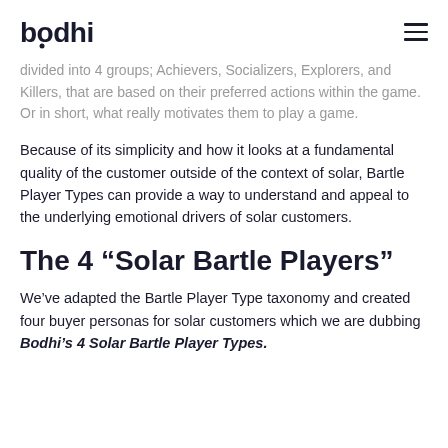bodhi
divided into 4 groups; Achievers, Socializers, Explorers, and Killers, that are based on their preferred actions within the game.  Or in short, what really motivates them to play a game.
Because of its simplicity and how it looks at a fundamental quality of the customer outside of the context of solar, Bartle Player Types can provide a way to understand and appeal to the underlying emotional drivers of solar customers.
The 4 “Solar Bartle Players”
We’ve adapted the Bartle Player Type taxonomy and created four buyer personas for solar customers which we are dubbing Bodhi’s 4 Solar Bartle Player Types.